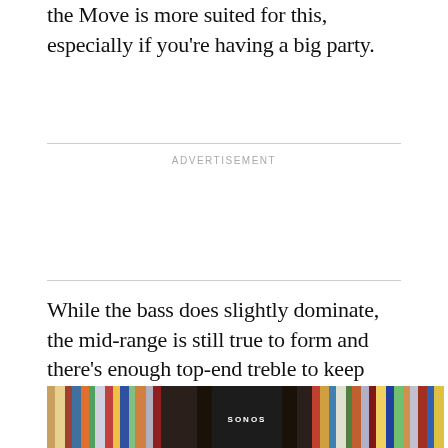the Move is more suited for this, especially if you're having a big party.
ADVERTISEMENT
While the bass does slightly dominate, the mid-range is still true to form and there's enough top-end treble to keep things well-rounded.
[Figure (photo): A black Sonos portable speaker standing among vinyl record albums on a shelf, viewed from the side. The word 'SONOS' is visible on the speaker.]